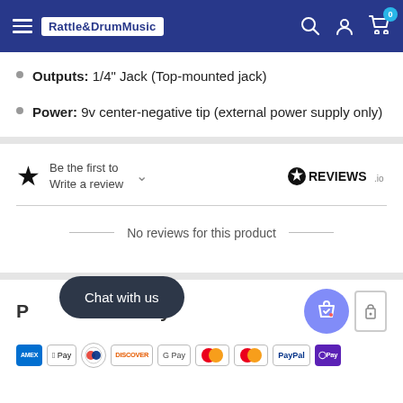Rattle&DrumMusic
Outputs: 1/4" Jack  (Top-mounted jack)
Power: 9v center-negative tip (external power supply only)
Be the first to Write a review
[Figure (logo): REVIEWS.io logo]
No reviews for this product
P...urity
[Figure (other): Chat with us button overlay]
[Figure (other): Payment method logos: Amex, Apple Pay, Diners, Discover, Google Pay, Mastercard x2, PayPal, OPay]